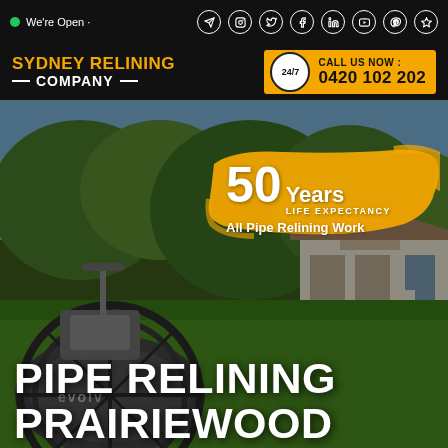We're Open · (social icons: location, instagram, twitter, facebook, linkedin, youtube, pinterest, star)
[Figure (logo): Sydney Relining Company logo with orange text on black background]
CALL US NOW : 0420 102 202
[Figure (photo): Outdoor background with trees, lawn, and house. Pipe relining equipment (robotic device with wheels) in foreground. Orange brushstroke badge with '50 Years LIFE EXPECTANCY All Pipe Relining Work'. Large white text overlay: PIPE RELINING PRAIRIEWOOD]
PIPE RELINING PRAIRIEWOOD